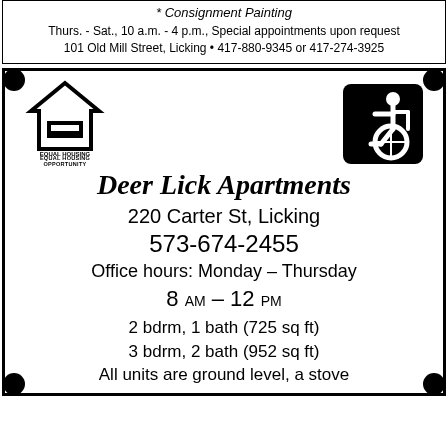* Consignment Painting
Thurs. - Sat., 10 a.m. - 4 p.m., Special appointments upon request
101 Old Mill Street, Licking • 417-880-9345 or 417-274-3925
[Figure (logo): Equal Housing Opportunity logo - house outline with equal sign]
[Figure (logo): Wheelchair accessibility symbol - white figure in wheelchair on black rounded square background]
Deer Lick Apartments
220 Carter St, Licking
573-674-2455
Office hours: Monday – Thursday
8 AM – 12 PM
2 bdrm, 1 bath (725 sq ft)
3 bdrm, 2 bath (952 sq ft)
All units are ground level, a stove